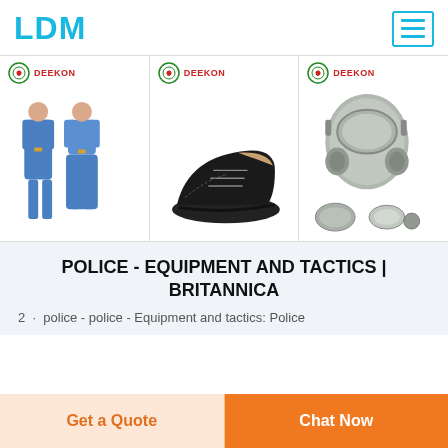LDM
[Figure (photo): Three product images each with DEEKON logo: (1) blue work uniforms/coveralls, (2) black oxford dress shoe, (3) grey gas mask with accessories]
POLICE - EQUIPMENT AND TACTICS | BRITANNICA
2 · police - police - Equipment and tactics: Police
Get a Quote
Chat Now